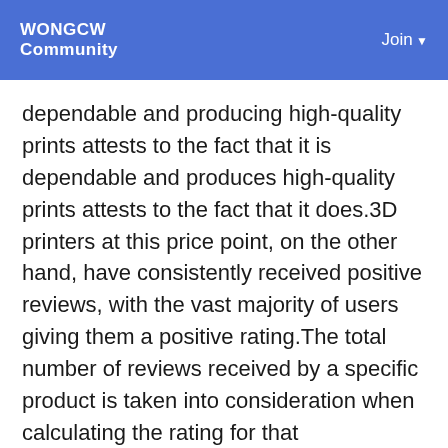WONGCW Community | Join
dependable and producing high-quality prints attests to the fact that it is dependable and produces high-quality prints attests to the fact that it does.3D printers at this price point, on the other hand, have consistently received positive reviews, with the vast majority of users giving them a positive rating.The total number of reviews received by a specific product is taken into consideration when calculating the rating for that product.Amazon has a low-cost {anchor}called the ELEGOO that costs less than $150 and has received more than 80 reviews with an average rating of 4.3.3.As a result, low-cost 3D printers will, without a doubt, prove to be worthwhile investments in the coming years.